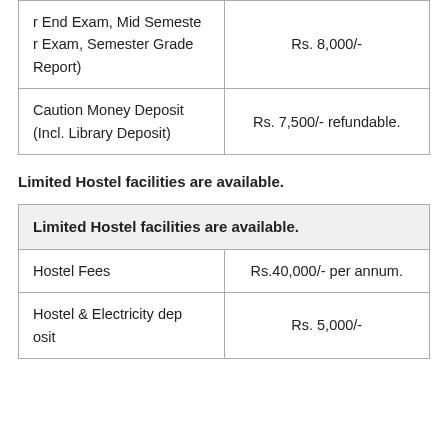| Fee Description | Amount |
| --- | --- |
| r End Exam, Mid Semester Exam, Semester Grade Report) | Rs. 8,000/- |
| Caution Money Deposit (Incl. Library Deposit) | Rs. 7,500/- refundable. |
Limited Hostel facilities are available.
| Limited Hostel facilities are available. |  |
| --- | --- |
| Hostel Fees | Rs.40,000/- per annum. |
| Hostel & Electricity deposit | Rs. 5,000/- |